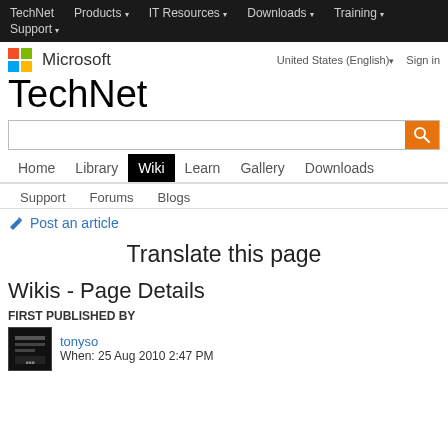TechNet  Products  IT Resources  Downloads  Training  Support
[Figure (logo): Microsoft logo with four colored squares (red, green, blue, yellow) and Microsoft wordmark]
United States (English)  Sign in
TechNet
[Figure (other): Search input bar with orange search button]
Home  Library  Wiki  Learn  Gallery  Downloads
Support  Forums  Blogs
Post an article
Translate this page
Wikis - Page Details
FIRST PUBLISHED BY
tonyso
When:  25 Aug 2010 2:47 PM